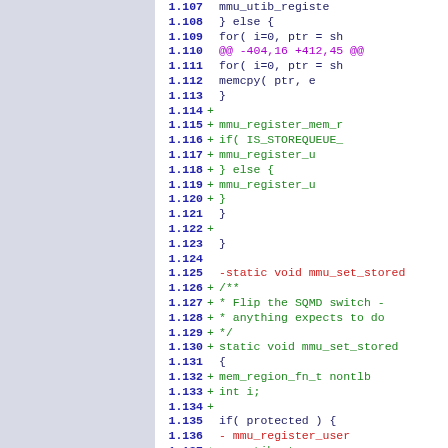[Figure (screenshot): A code diff viewer showing lines 1.107 through 1.137 of a patch file. Left panel is light blue-grey. Right panel shows diff output with line numbers in bold blue, added lines in green with '+', removed lines in red with '-', and a hunk header in magenta. The code relates to mmu (memory management unit) functions including mmu_register_mem, mmu_set_stored, and related C code.]